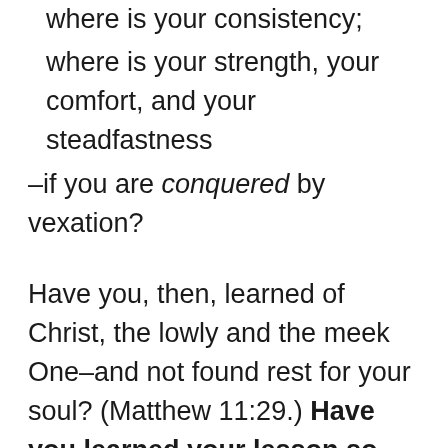where is your consistency;
where is your strength, your comfort, and your steadfastness
–if you are conquered by vexation?
Have you, then, learned of Christ, the lowly and the meek One–and not found rest for your soul? (Matthew 11:29.) Have you learned your lesson so badly? Go, learn it over again. Fight, then, against this habit of vexation. Give it no place within you. Look to the Comforter to help you. Taste the tranquility of God. Take every trial as it gives...